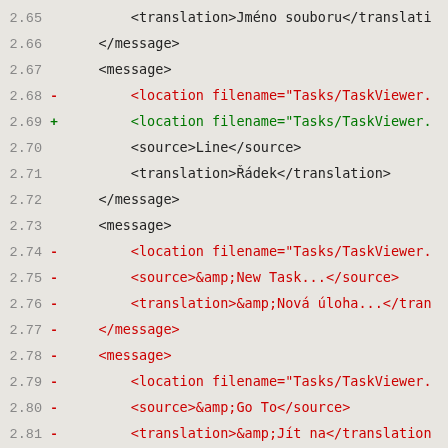Code diff showing XML message file lines 2.65–2.84 with additions and deletions in green and red
2.65        <translation>Jméno souboru</translati
2.66        </message>
2.67        <message>
2.68 -      <location filename="Tasks/TaskViewer.
2.69 +      <location filename="Tasks/TaskViewer.
2.70        <source>Line</source>
2.71        <translation>Řádek</translation>
2.72        </message>
2.73        <message>
2.74 -      <location filename="Tasks/TaskViewer.
2.75 -      <source>&amp;New Task...</source>
2.76 -      <translation>&amp;Nová úloha...</tran
2.77 -      </message>
2.78 -      <message>
2.79 -      <location filename="Tasks/TaskViewer.
2.80 -      <source>&amp;Go To</source>
2.81 -      <translation>&amp;Jít na</translation
2.82 -      </message>
2.83 -      <message>
2.84 -      <location filename="Tasks/TaskViewer.